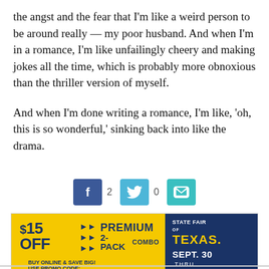the angst and the fear that I'm like a weird person to be around really — my poor husband. And when I'm in a romance, I'm like unfailingly cheery and making jokes all the time, which is probably more obnoxious than the thriller version of myself.
And when I'm done writing a romance, I'm like, 'oh, this is so wonderful,' sinking back into like the drama.
[Figure (infographic): Social share buttons: Facebook (2), Twitter (0), Email]
[Figure (infographic): Advertisement: $15 OFF Premium 2-Pack Combo. State Fair of Texas. Sept. 30 thru Oct. 23. Buy online & save big! Use promo code: 22mapCOMBO]